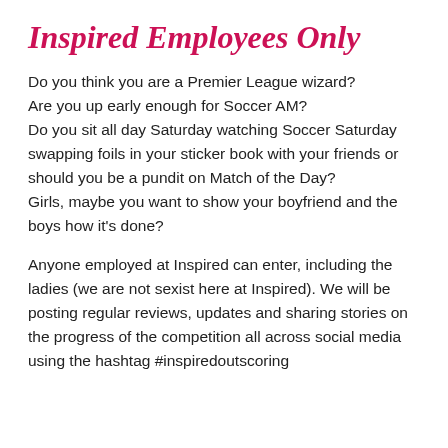Inspired Employees Only
Do you think you are a Premier League wizard? Are you up early enough for Soccer AM? Do you sit all day Saturday watching Soccer Saturday swapping foils in your sticker book with your friends or should you be a pundit on Match of the Day? Girls, maybe you want to show your boyfriend and the boys how it’s done?
Anyone employed at Inspired can enter, including the ladies (we are not sexist here at Inspired). We will be posting regular reviews, updates and sharing stories on the progress of the competition all across social media using the hashtag #inspiredoutscoring